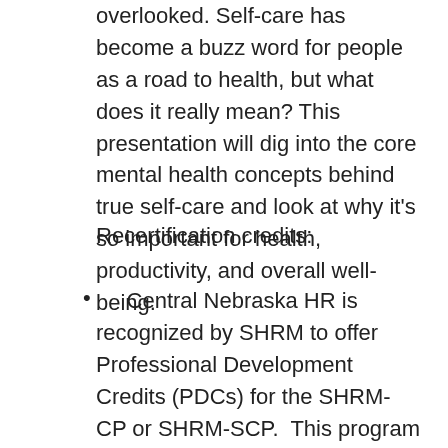overlooked. Self-care has become a buzz word for people as a road to health, but what does it really mean? This presentation will dig into the core mental health concepts behind true self-care and look at why it's so important for health, productivity, and overall well-being.
Recertification credits:
Central Nebraska HR is recognized by SHRM to offer Professional Development Credits (PDCs) for the SHRM-CP or SHRM-SCP. This program has been pre-approved for 1 PDC for the SHRM-CP and SHRM-SCP. For more information about certification or recertification, please visit www.shrmcertification.org.